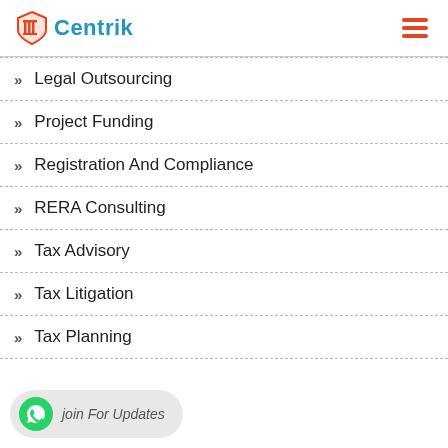[Figure (logo): Centrik logo with pillar icon in red/orange and blue text]
Legal Outsourcing
Project Funding
Registration And Compliance
RERA Consulting
Tax Advisory
Tax Litigation
Tax Planning
join For Updates